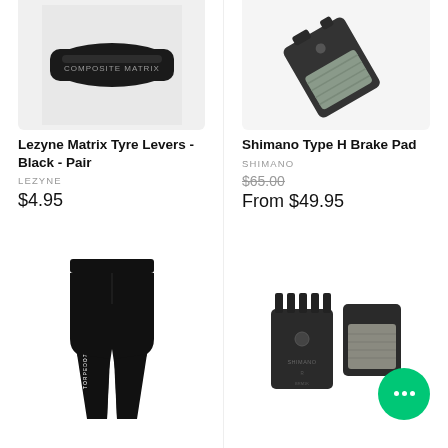[Figure (photo): Lezyne Matrix Tyre Levers product image, black, cropped at top]
[Figure (photo): Shimano Type H Brake Pad product image showing grey/teal brake pad]
Lezyne Matrix Tyre Levers - Black - Pair
LEZYNE
$4.95
Shimano Type H Brake Pad
SHIMANO
$65.00
From $49.95
[Figure (photo): Black cycling/MTB trousers product image]
[Figure (photo): Shimano brake pads pair product image with green chat bubble overlay]